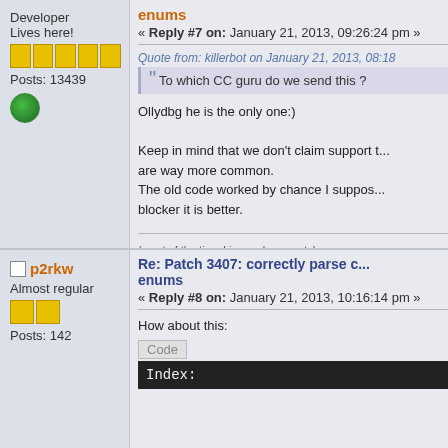Developer
Lives here!
Posts: 13439
enums
« Reply #7 on: January 21, 2013, 09:26:24 pm »
Quote from: killerbot on January 21, 2013, 08:18
To which CC guru do we send this ?
Ollydbg he is the only one:)

Keep in mind that we don't claim support t... are way more common.
The old code worked by chance I suppos... blocker it is better.
(most of the time I ignore long posts)
[strangers don't send me private messages, I'll ig...
p2rkw
Almost regular
Posts: 142
Re: Patch 3407: correctly parse c... enums
« Reply #8 on: January 21, 2013, 10:16:14 pm »
How about this:
Code
Index: